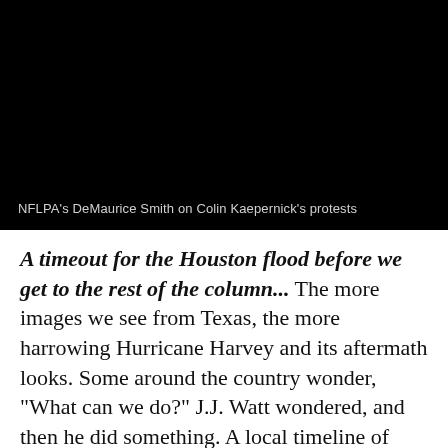[Figure (screenshot): Black video thumbnail with caption text at bottom reading 'NFLPA's DeMaurice Smith on Colin Kaepernick's protests']
NFLPA's DeMaurice Smith on Colin Kaepernick's protests
A timeout for the Houston flood before we get to the rest of the column... The more images we see from Texas, the more harrowing Hurricane Harvey and its aftermath looks. Some around the country wonder, "What can we do?" J.J. Watt wondered, and then he did something. A local timeline of Watt's flood relief efforts from his